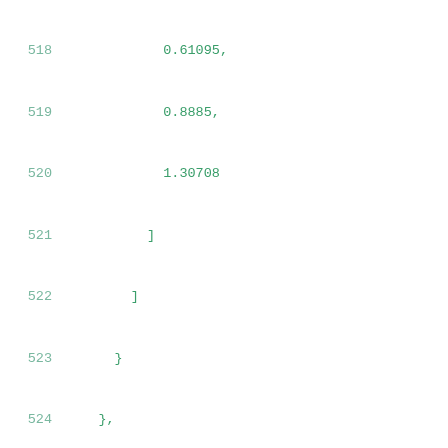518    0.61095,
519    0.8885,
520    1.30708
521    ]
522    ]
523    }
524    },
525    "max_capacitance": 0.51411,
526    "power_down_function": "(!VPWR + VGND)",
527    "related_ground_pin": "VGND",
528    "related_power_pin": "VPWR",
529    "timing": {
530    "cell_fall,delay_template13x14": {
531    "index_1": [
532    0.01,
533    0.01735,
534    0.02602,
535    0.03903,
536    0.05855,
537    0.08782,
538    0.13172,
539    0.19757,